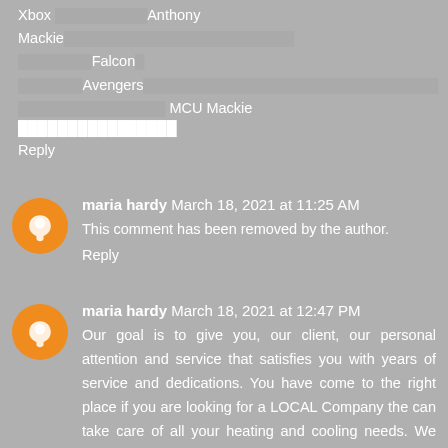Xbox ██████████Anthony Mackie████████████████████████Falcon█ ███████Avengers████████████████████████████████ MCU Mackie ████████████████
Reply
maria hardy   March 18, 2021 at 11:25 AM
This comment has been removed by the author.
Reply
maria hardy   March 18, 2021 at 12:47 PM
Our goal is to give you, our client, our personal attention and service that satisfies you with years of service and dedications. You have come to the right place if you are looking for a LOCAL Company the can take care of all your heating and cooling needs. We deal in most major brands for repairs, service, installation. With over 30 years experience in HVAC installations repairs and service in residential and